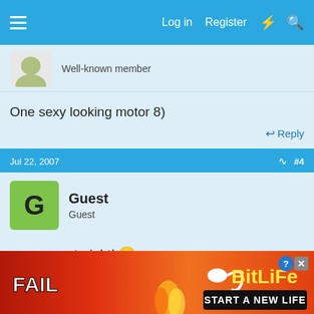Log in  Register
Well-known member
One sexy looking motor 8)
Reply
Jul 22, 2007  #4
Guest
Guest
very very straight! 😀
Reply
[Figure (screenshot): Advertisement banner for BitLife app showing 'FAIL' text with a person facepalming, flames, and the text 'START A NEW LIFE']